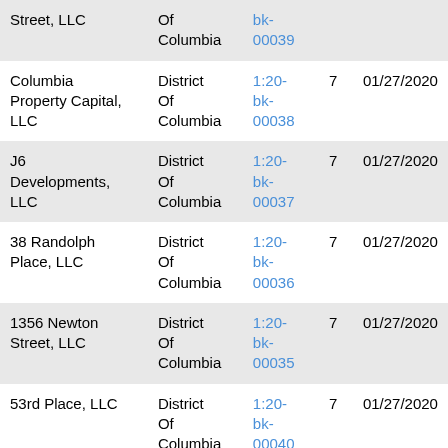| Debtor | District | Case Number | Chapter | Date Filed |
| --- | --- | --- | --- | --- |
| Street, LLC | District Of Columbia | 1:20-bk-00039 |  |  |
| Columbia Property Capital, LLC | District Of Columbia | 1:20-bk-00038 | 7 | 01/27/2020 |
| J6 Developments, LLC | District Of Columbia | 1:20-bk-00037 | 7 | 01/27/2020 |
| 38 Randolph Place, LLC | District Of Columbia | 1:20-bk-00036 | 7 | 01/27/2020 |
| 1356 Newton Street, LLC | District Of Columbia | 1:20-bk-00035 | 7 | 01/27/2020 |
| 53rd Place, LLC | District Of Columbia | 1:20-bk-00040 | 7 | 01/27/2020 |